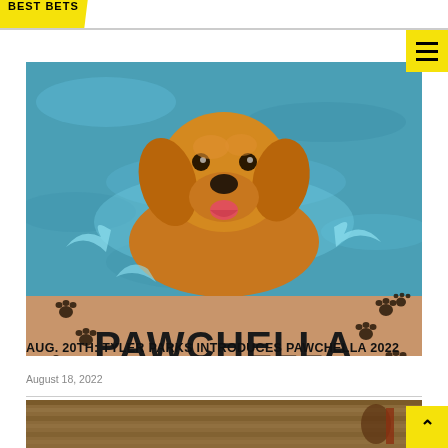BEST BETS
[Figure (photo): A golden retriever dog swimming in a blue pool, looking at the camera and smiling. Below the photo is a tan/brown Pawchella event flyer with paw prints, reading: PAWCHELLA, SATURDAY, AUG. 20TH, 6 TO 8:30PM, ELM FOREST POOL SPLASHPAD]
AUG. 20TH: TYLER PARKS INTRODUCES PAWCHELLA 2022
August 18, 2022
[Figure (photo): Partial image at the bottom of the page showing a wooden surface with some items, partially cut off.]